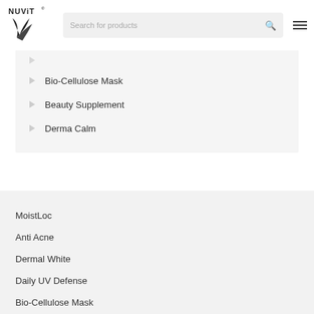[Figure (logo): NuVit brand logo with stylized wing/leaf mark and registered trademark symbol]
Search for products
Bio-Cellulose Mask
Beauty Supplement
Derma Calm
MoistLoc
Anti Acne
Dermal White
Daily UV Defense
Bio-Cellulose Mask